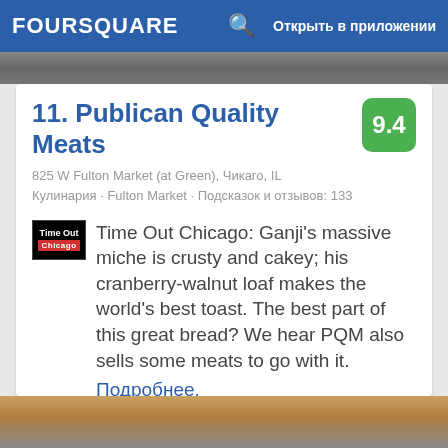FOURSQUARE   Открыть в приложении
11. Publican Quality Meats
825 W Fulton Market (at Green), Чикаго, IL
Кулинария · Fulton Market · Подсказок и отзывов: 133
Time Out Chicago: Ganji's massive miche is crusty and cakey; his cranberry-walnut loaf makes the world's best toast. The best part of this great bread? We hear PQM also sells some meats to go with it. Подробнее.